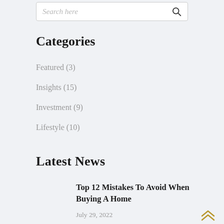Search here
Categories
Featured (3)
Insights (15)
Investment (9)
Lifestyle (10)
Latest News
Top 12 Mistakes To Avoid When Buying A Home
July 29, 2022